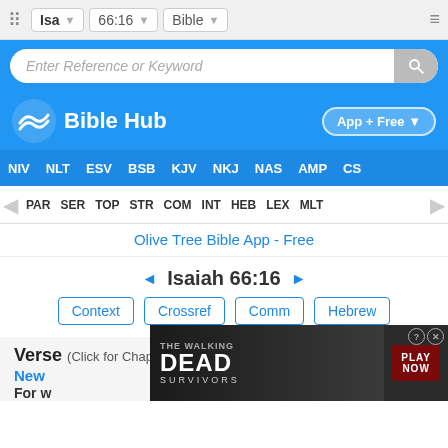Isa  66:16  Bible
[Figure (screenshot): Bible Hub website search bar with blue background and 'Enter Reference or Keyword' placeholder text]
[Figure (logo): Bible Hub logo with wave icon and text 'Bible Hub', App + Free button]
NIV  NLT  ESV  BSB  KJV  NKJ  NAS  AMP  CS
PAR  SER  TOP  STR  COM  INT  HEB  LEX  MLT
Olive Tree Bible App - Free
◄ Isaiah 66:16 ►
Context  Crossref  Comm  Hebrew
Verse (Click for Chapter)
New
For w
[Figure (screenshot): Advertisement overlay for The Walking Dead Survivors game with PLAY NOW button]